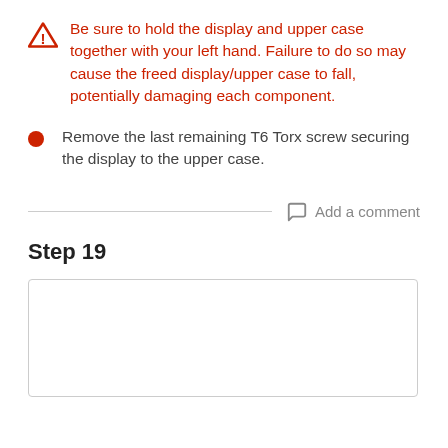Be sure to hold the display and upper case together with your left hand. Failure to do so may cause the freed display/upper case to fall, potentially damaging each component.
Remove the last remaining T6 Torx screw securing the display to the upper case.
Add a comment
Step 19
[Figure (other): Empty image placeholder box for Step 19]